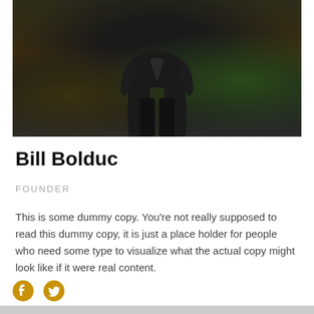[Figure (photo): A person standing on a dirt path wearing a dark jacket and black pants, photographed from torso down, surrounded by grass and earth ground cover]
Bill Bolduc
FOUNDER
This is some dummy copy. You're not really supposed to read this dummy copy, it is just a place holder for people who need some type to visualize what the actual copy might look like if it were real content.
[Figure (illustration): Social media icons: Facebook and Twitter in golden/yellow color]